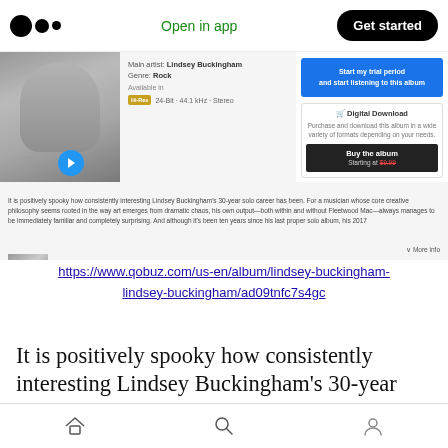Medium logo | Open in app | Get started
[Figure (screenshot): Screenshot of Qobuz album page for Lindsey Buckingham showing album art, artist info (Main artist: Lindsey Buckingham, Genre: Rock), Hi-Res badge, trial period button, Digital Download section with Buy the album starting at $9.99, and a brief description text with More info link]
https://www.qobuz.com/us-en/album/lindsey-buckingham-lindsey-buckingham/ad09tnfc7s4gc
It is positively spooky how consistently interesting Lindsey Buckingham's 30-year solo career has been. For a musician whose core
Home | Search | Profile icons